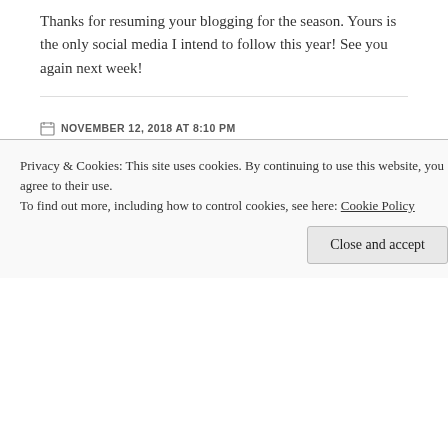Thanks for resuming your blogging for the season. Yours is the only social media I intend to follow this year! See you again next week!
NOVEMBER 12, 2018 AT 8:10 PM
REPLY
BETHWESSON
I love reading your insightful comments! TY!
NOVEMBER 12, 2018 AT 8:27 PM
Privacy & Cookies: This site uses cookies. By continuing to use this website, you agree to their use. To find out more, including how to control cookies, see here: Cookie Policy
Close and accept